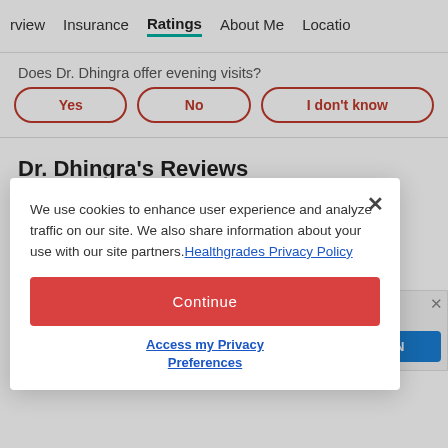rview   Insurance   Ratings   About Me   Locatio
Does Dr. Dhingra offer evening visits?
Yes
No
I don't know
Dr. Dhingra's Reviews
We use cookies to enhance user experience and analyze traffic on our site. We also share information about your use with our site partners. Healthgrades Privacy Policy
Continue
Access my Privacy Preferences